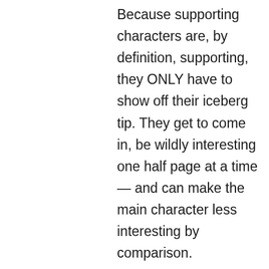Because supporting characters are, by definition, supporting, they ONLY have to show off their iceberg tip. They get to come in, be wildly interesting one half page at a time — and can make the main character less interesting by comparison.

I love populating my stories and scripts with characters who appear, be memorable / funny / interesting, and then be gone again in an instant, like a butterfly through an atomizer. It's necessary and important. But my advice (to myself, mostly) is to continually double check that when strung together like a popcorn necklace, these